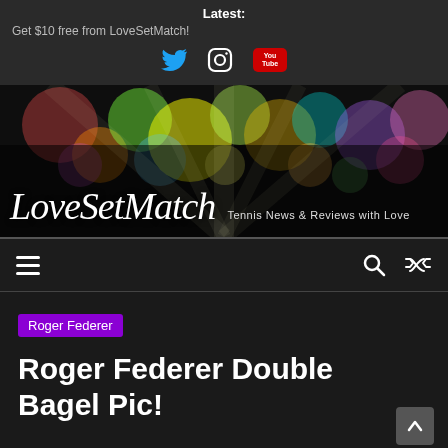Latest:
Get $10 free from LoveSetMatch!
[Figure (logo): LoveSetMatch banner with bokeh colored lights background, logo text and tagline 'Tennis News & Reviews with Love']
Roger Federer
Roger Federer Double Bagel Pic!